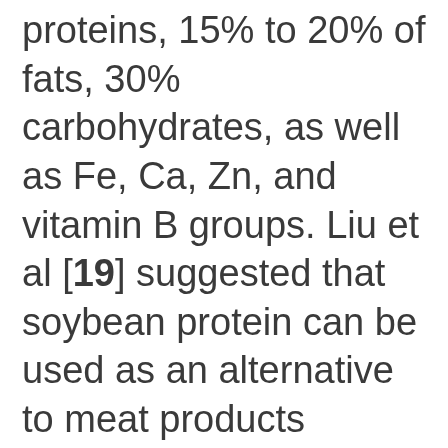proteins, 15% to 20% of fats, 30% carbohydrates, as well as Fe, Ca, Zn, and vitamin B groups. Liu et al [19] suggested that soybean protein can be used as an alternative to meat products because of its excellent capacity for rehydration, oil absorption, emulsification, and water